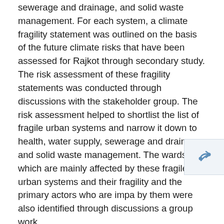sewerage and drainage, and solid waste management. For each system, a climate fragility statement was outlined on the basis of the future climate risks that have been assessed for Rajkot through secondary study. The risk assessment of these fragility statements was conducted through discussions with the stakeholder group. The risk assessment helped to shortlist the list of fragile urban systems and narrow it down to health, water supply, sewerage and drainage and solid waste management. The wards which are mainly affected by these fragile urban systems and their fragility and the primary actors who are impacted by them were also identified through discussions and group work.
It was decided that local city associates in Rajkot will visit each core team member to assess the primary actors who are at risk in the city because of the fragile urban systems. ICLEI will develop a basket of solutions based on the vulnerabilities identified through the workshop and will present it to the city in the next workshop to shortlist the relevant ones. These